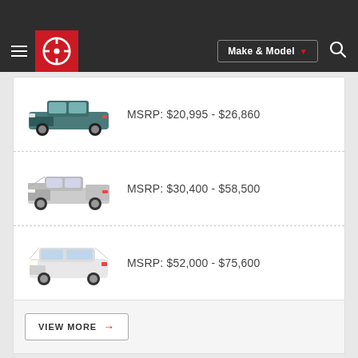[Figure (screenshot): Navigation bar with hamburger menu, Edmunds logo, Make & Model dropdown, and search icon]
[Figure (photo): Teal/dark green pickup truck (compact)]
MSRP: $20,995 - $26,860
[Figure (photo): White/silver full-size pickup truck]
MSRP: $30,400 - $58,500
[Figure (photo): White full-size SUV]
MSRP: $52,000 - $75,600
VIEW MORE →